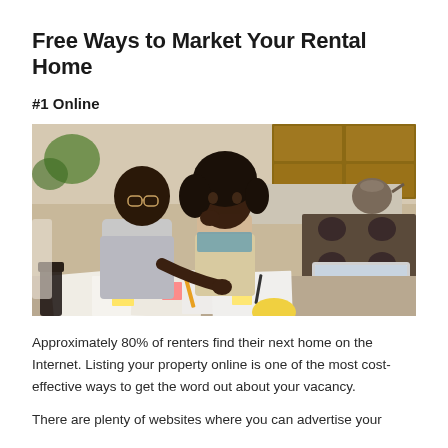Free Ways to Market Your Rental Home
#1 Online
[Figure (photo): A man and woman, both Black, sitting at a kitchen table covered with papers, sticky notes, and documents. The man is pointing at something on the table while the woman looks on thoughtfully with her hand near her face. An open laptop is visible on the right side, and a stove with a kettle is visible in the background.]
Approximately 80% of renters find their next home on the Internet. Listing your property online is one of the most cost-effective ways to get the word out about your vacancy.
There are plenty of websites where you can advertise your